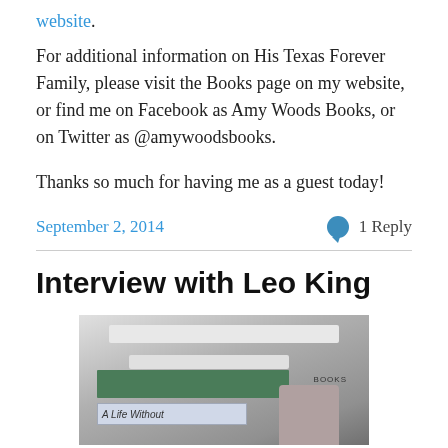website.
For additional information on His Texas Forever Family, please visit the Books page on my website, or find me on Facebook as Amy Woods Books, or on Twitter as @amywoodsbooks.
Thanks so much for having me as a guest today!
September 2, 2014   1 Reply
Interview with Leo King
[Figure (photo): A photo showing a bookstore interior with ceiling lights, green shelving sign, a banner reading 'A Life Without' and a person partially visible]